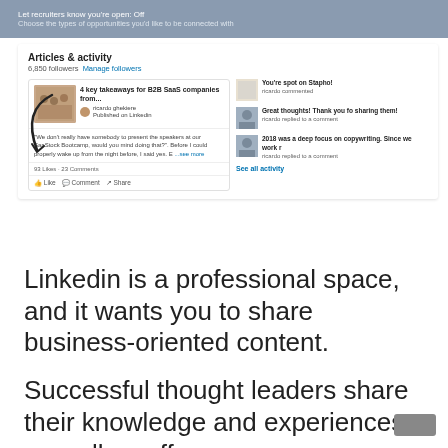[Figure (screenshot): LinkedIn profile screenshot showing 'Articles & activity' section with 6,850 followers, a post about '4 key takeaways for B2B SaaS companies from...' by ricardo ghekiere published on LinkedIn, and activity feed showing comments and replies.]
Linkedin is a professional space, and it wants you to share business-oriented content.
Successful thought leaders share their knowledge and experiences, as well as offer